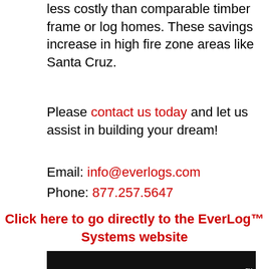less costly than comparable timber frame or log homes. These savings increase in high fire zone areas like Santa Cruz.
Please contact us today and let us assist in building your dream!
Email: info@everlogs.com
Phone: 877.257.5647
Click here to go directly to the EverLog™ Systems website
[Figure (logo): EverLog Systems logo on black background with orange bird/leaf graphic and white text reading EVERLOG SYSTEMS]